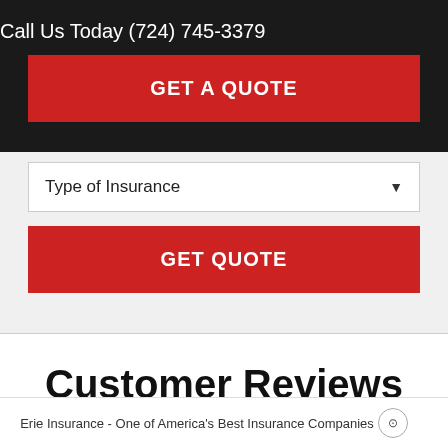Call Us Today (724) 745-3379
GET A QUOTE
Type of Insurance
GET QUOTE
Customer Reviews
Erie Insurance - One of America's Best Insurance Companies